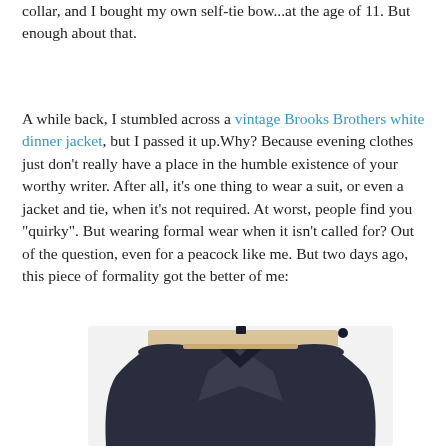collar, and I bought my own self-tie bow...at the age of 11. But enough about that.
A while back, I stumbled across a vintage Brooks Brothers white dinner jacket, but I passed it up.Why? Because evening clothes just don't really have a place in the humble existence of your worthy writer. After all, it's one thing to wear a suit, or even a jacket and tie, when it's not required. At worst, people find you "quirky". But wearing formal wear when it isn't called for? Out of the question, even for a peacock like me. But two days ago, this piece of formality got the better of me:
[Figure (photo): A dark navy/charcoal suit jacket hanging on a wooden hanger against a white wall background.]